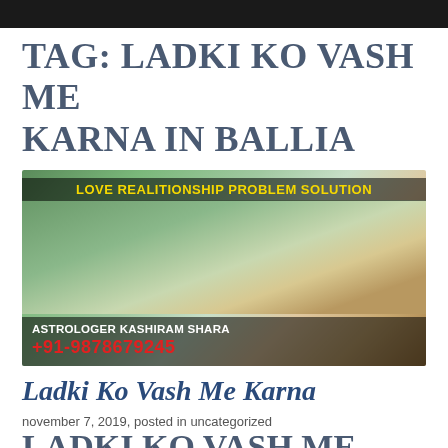TAG: LADKI KO VASH ME KARNA IN BALLIA
[Figure (photo): Promotional banner showing a couple smiling at each other outdoors with text 'LOVE REALITIONSHIP PROBLEM SOLUTION' at top and 'ASTROLOGER KASHIRAM SHARA +91-9878679245' at bottom]
Ladki Ko Vash Me Karna
november 7, 2019, posted in uncategorized
LADKI KO VASH ME